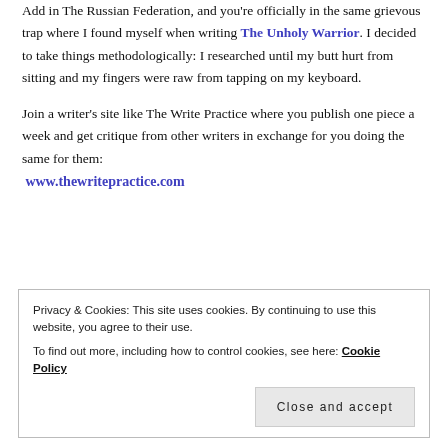Add in The Russian Federation, and you're officially in the same grievous trap where I found myself when writing The Unholy Warrior. I decided to take things methodologically: I researched until my butt hurt from sitting and my fingers were raw from tapping on my keyboard.
Join a writer's site like The Write Practice where you publish one piece a week and get critique from other writers in exchange for you doing the same for them: www.thewritepractice.com
Privacy & Cookies: This site uses cookies. By continuing to use this website, you agree to their use. To find out more, including how to control cookies, see here: Cookie Policy
Close and accept